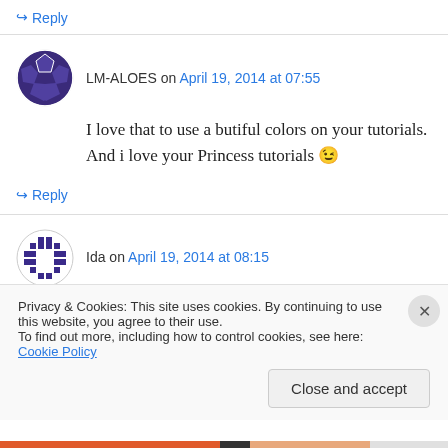↪ Reply
LM-ALOES on April 19, 2014 at 07:55
I love that to use a butiful colors on your tutorials. And i love your Princess tutorials 😉
↪ Reply
Ida on April 19, 2014 at 08:15
I love all of your videos but at the moment I'm
Privacy & Cookies: This site uses cookies. By continuing to use this website, you agree to their use.
To find out more, including how to control cookies, see here: Cookie Policy